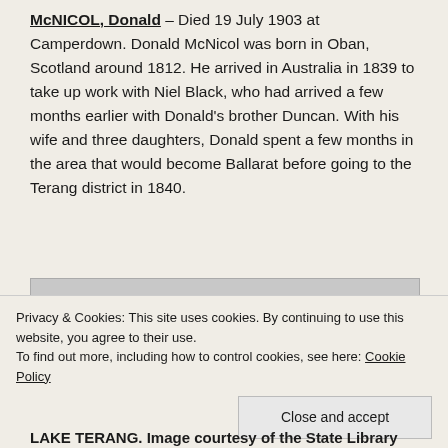McNICOL, Donald – Died 19 July 1903 at Camperdown. Donald McNicol was born in Oban, Scotland around 1812. He arrived in Australia in 1839 to take up work with Niel Black, who had arrived a few months earlier with Donald's brother Duncan. With his wife and three daughters, Donald spent a few months in the area that would become Ballarat before going to the Terang district in 1840.
[Figure (photo): Partial view of a photograph, partially obscured by cookie consent banner. Caption reads LAKE TERANG. Image courtesy of the State Library.]
Privacy & Cookies: This site uses cookies. By continuing to use this website, you agree to their use.
To find out more, including how to control cookies, see here: Cookie Policy
LAKE TERANG. Image courtesy of the State Library